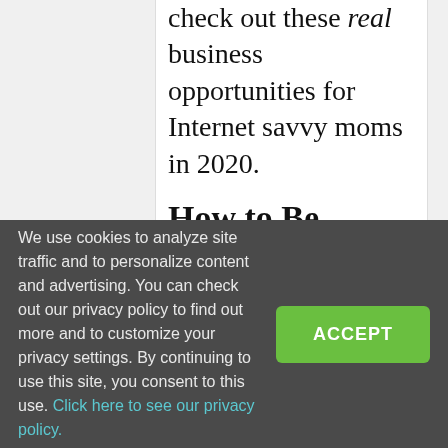check out these real business opportunities for Internet savvy moms in 2020.
How to Be Successful in
We use cookies to analyze site traffic and to personalize content and advertising. You can check out our privacy policy to find out more and to customize your privacy settings. By continuing to use this site, you consent to this use. Click here to see our privacy policy.